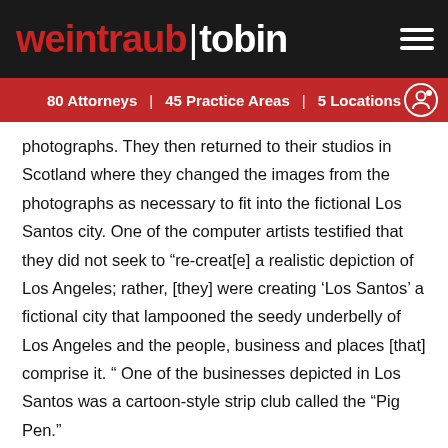[Figure (logo): Weintraub Tobin law firm logo and navigation header bar with hamburger menu icon]
80 Attorneys  |  45 Practice Areas  |  5 Locations
photographs. They then returned to their studios in Scotland where they changed the images from the photographs as necessary to fit into the fictional Los Santos city. One of the computer artists testified that they did not seek to “re-creat[e] a realistic depiction of Los Angeles; rather, [they] were creating ‘Los Santos’ a fictional city that lampooned the seedy underbelly of Los Angeles and the people, business and places [that] comprise it. “ One of the businesses depicted in Los Santos was a cartoon-style strip club called the “Pig Pen.”
E.S.S. Entertainment 2000, Inc. (“ESS”) operates a strip club featuring nude females in East Los Angeles called the Play Pen Gentlemen’s Club (“Play Pen”). ESS claims that Rockstar’s